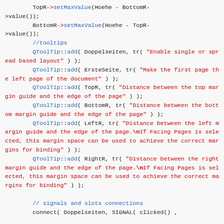[Figure (screenshot): Source code screenshot showing C++ code with tooltip registrations and signal/slot connections, syntax highlighted in blue and red on light grey background.]